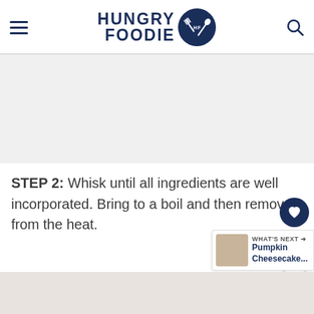HUNGRY FOODIE
[Figure (other): Advertisement placeholder area, light gray background]
STEP 2: Whisk until all ingredients are well incorporated. Bring to a boil and then remove from the heat.
[Figure (other): Floating action buttons: heart/like button with count 378 and share button]
[Figure (other): What's Next panel showing Pumpkin Cheesecake... with thumbnail image]
[Figure (photo): Bottom strip of a food photo, light beige/white background]